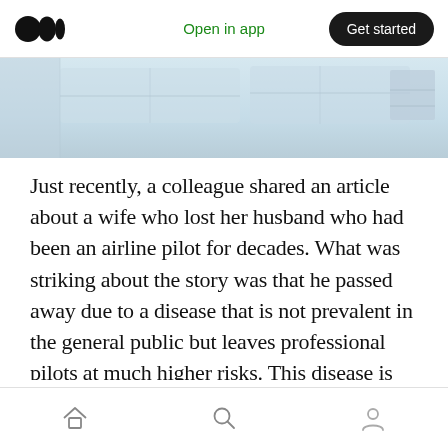Open in app | Get started
[Figure (photo): Partial view of airplane cockpit or fuselage interior, light blue/grey tones, ceiling panels visible]
Just recently, a colleague shared an article about a wife who lost her husband who had been an airline pilot for decades. What was striking about the story was that he passed away due to a disease that is not prevalent in the general public but leaves professional pilots at much higher risks. This disease is Melanoma, Skin Cancer. In this week's On Aviation™, We would like to share this heartfelt story as well as some research
Home | Search | Profile